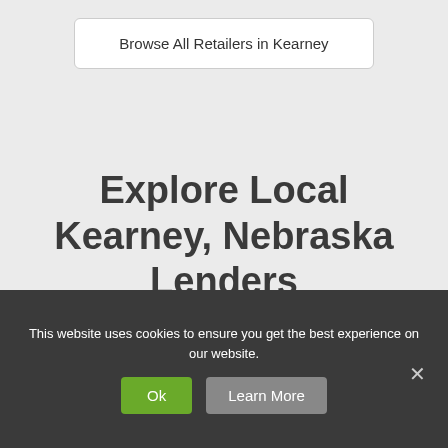Browse All Retailers in Kearney
Explore Local Kearney, Nebraska Lenders
[Figure (other): White card placeholder area]
This website uses cookies to ensure you get the best experience on our website.
Ok
Learn More